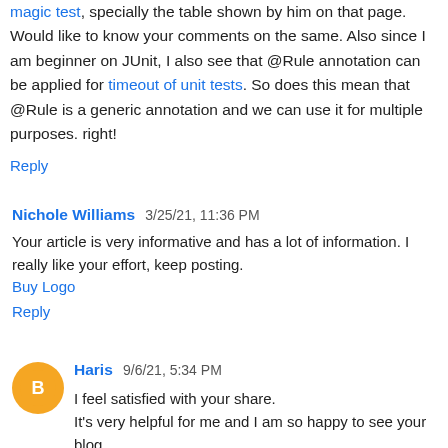magic test, specially the table shown by him on that page. Would like to know your comments on the same. Also since I am beginner on JUnit, I also see that @Rule annotation can be applied for timeout of unit tests. So does this mean that @Rule is a generic annotation and we can use it for multiple purposes. right!
Reply
Nichole Williams  3/25/21, 11:36 PM
Your article is very informative and has a lot of information. I really like your effort, keep posting.
Buy Logo
Reply
Haris  9/6/21, 5:34 PM
I feel satisfied with your share.
It's very helpful for me and I am so happy to see your blog.
Thank you for sharing it with us. law dissertation help